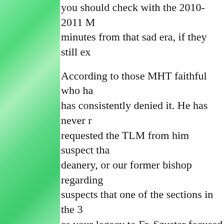you should check with the 2010-2011 M... minutes from that sad era, if they still ex...
According to those MHT faithful who ha... has consistently denied it. He has never r... requested the TLM from him suspect tha... deanery, or our former bishop regarding... suspects that one of the sections in the 3... as your legacy to Fr. Szuster focused on... question.
You should also be a bit more truthful ab... diocese. He retired for health reasons an... homeland in late 2011. Doesn't seem tha... long ago Diocese of Savannah Catholic s... knowingly not telling the truth could be...